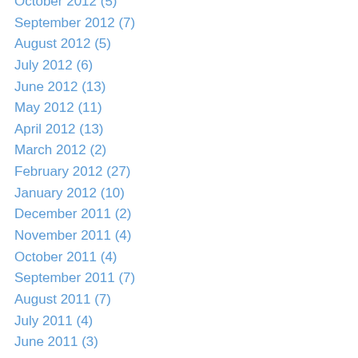October 2012 (5)
September 2012 (7)
August 2012 (5)
July 2012 (6)
June 2012 (13)
May 2012 (11)
April 2012 (13)
March 2012 (2)
February 2012 (27)
January 2012 (10)
December 2011 (2)
November 2011 (4)
October 2011 (4)
September 2011 (7)
August 2011 (7)
July 2011 (4)
June 2011 (3)
May 2011 (2)
April 2011 (5)
March 2011 (19)